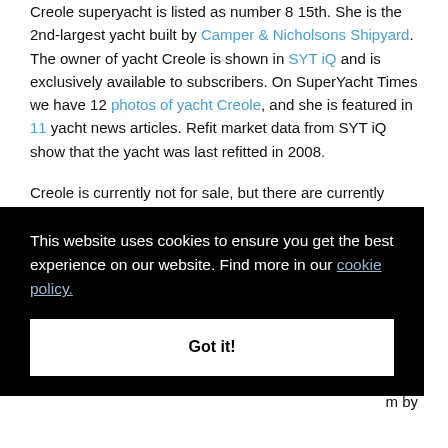Creole superyacht is listed as number 8 15th. She is the 2nd-largest yacht built by Camper & Nicholsons Shipyard. The owner of yacht Creole is shown in SYT iQ and is exclusively available to subscribers. On SuperYacht Times we have 12 photos of yacht Creole, and she is featured in 11 yacht news articles. Refit market data from SYT iQ show that the yacht was last refitted in 2008.
Creole is currently not for sale, but there are currently 1996 yachts for sale in the world. Sailing yacht Creole was last sold in 1982. According to data from our
f the
m by
This website uses cookies to ensure you get the best experience on our website. Find more in our cookie policy.
Got it!